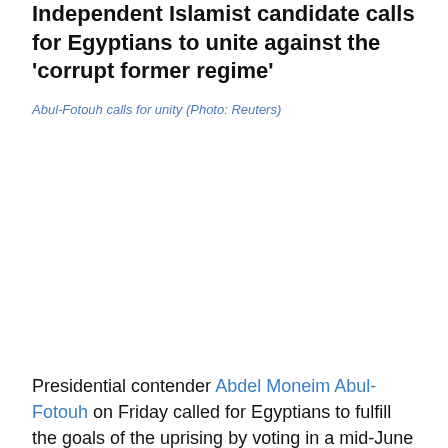Independent Islamist candidate calls for Egyptians to unite against the 'corrupt former regime'
Abul-Fotouh calls for unity (Photo: Reuters)
[Figure (photo): Photo of Abul-Fotouh (placeholder/blank area)]
Presidential contender Abdel Moneim Abul-Fotouh on Friday called for Egyptians to fulfill the goals of the uprising by voting in a mid-June run-off between the Muslim Brotherhood's Mohamed Morsi and former Mubarak-era